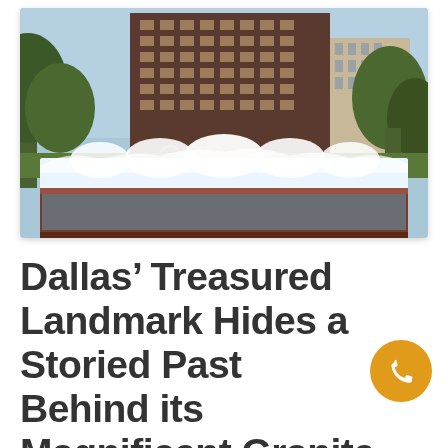[Figure (photo): A urban fountain with cascading white water in the foreground, with a large dark brick multi-story building in the center background, flanked by green trees on both sides, and another historic building visible on the right. The fountain basin has a reddish-brown granite rim.]
Dallas’ Treasured Landmark Hides a Storied Past Behind its Magnificent Granite & Brick Façade